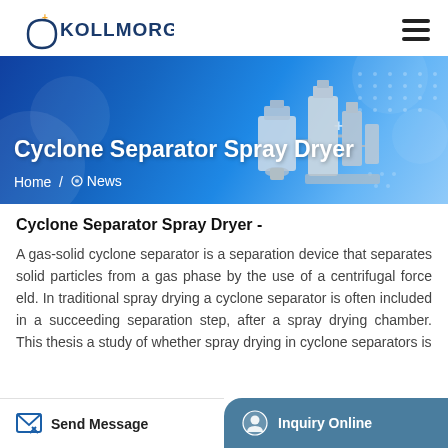KOLLMORGEN
[Figure (screenshot): Hero banner with blue gradient background showing 'Cyclone Separator Spray Dryer' title, breadcrumb navigation showing 'Home / News', and industrial spray dryer machine images on the right side]
Cyclone Separator Spray Dryer -
A gas-solid cyclone separator is a separation device that separates solid particles from a gas phase by the use of a centrifugal force eld. In traditional spray drying a cyclone separator is often included in a succeeding separation step, after a spray drying chamber. This thesis a study of whether spray drying in cyclone separators is
Send Message | Inquiry Online